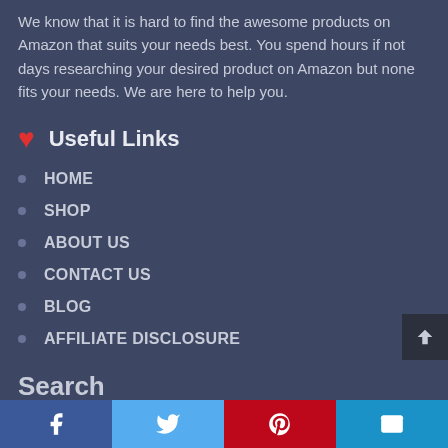We know that it is hard to find the awesome products on Amazon that suits your needs best. You spend hours if not days researching your desired product on Amazon but none fits your needs. We are here to help you.
❤ Useful Links
HOME
SHOP
ABOUT US
CONTACT US
BLOG
AFFILIATE DISCLOSURE
Search
Facebook | Twitter | Pinterest | Email